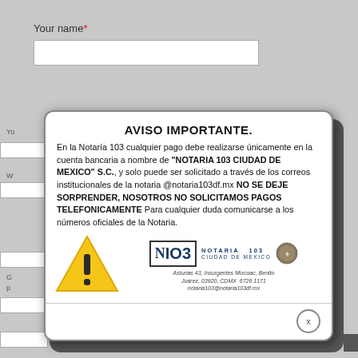Your name*
AVISO IMPORTANTE.
En la Notaría 103 cualquier pago debe realizarse únicamente en la cuenta bancaria a nombre de "NOTARIA 103 CIUDAD DE MEXICO" S.C., y solo puede ser solicitado a través de los correos institucionales de la notaria @notaria103df.mx NO SE DEJE SORPRENDER, NOSOTROS NO SOLICITAMOS PAGOS TELEFONICAMENTE Para cualquier duda comunicarse a los números oficiales de la Notaria.
[Figure (illustration): Yellow warning triangle with black exclamation mark]
[Figure (logo): Notaria 103 Ciudad de Mexico logo with crest, address: Asturias 43, Insurgentes Mixcoac, Benito Juárez, 03920, CDMX 6726 1171, notaria103@notaria103df.mx]